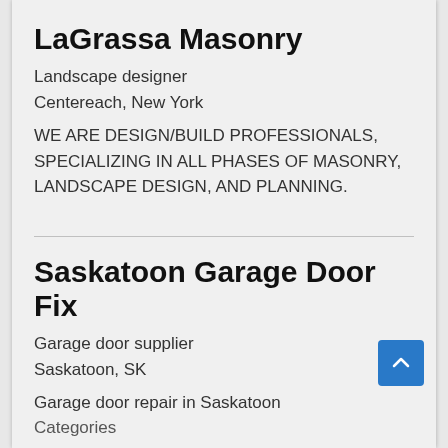LaGrassa Masonry
Landscape designer
Centereach, New York
WE ARE DESIGN/BUILD PROFESSIONALS, SPECIALIZING IN ALL PHASES OF MASONRY, LANDSCAPE DESIGN, AND PLANNING.
Saskatoon Garage Door Fix
Garage door supplier
Saskatoon, SK
Garage door repair in Saskatoon
Categories